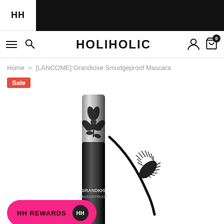HH | HOLIHOLIC
Home > [LANCOME] Grandiose Smudgeproof Mascara
Sale
[Figure (photo): Lancome Grandiose Smudgeproof Mascara product photo showing the mascara tube with floral design and applicator brush wand on white background]
HH REWARDS